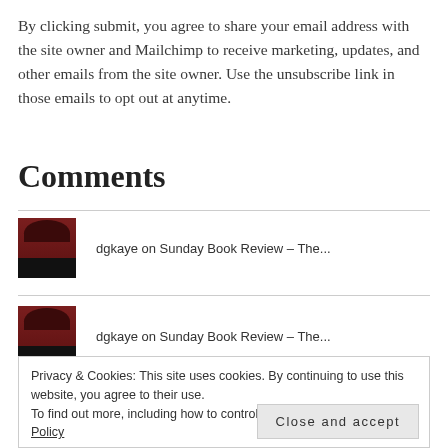By clicking submit, you agree to share your email address with the site owner and Mailchimp to receive marketing, updates, and other emails from the site owner. Use the unsubscribe link in those emails to opt out at anytime.
Comments
dgkaye on Sunday Book Review – The...
dgkaye on Sunday Book Review – The...
Privacy & Cookies: This site uses cookies. By continuing to use this website, you agree to their use. To find out more, including how to control cookies, see here: Cookie Policy
Close and accept